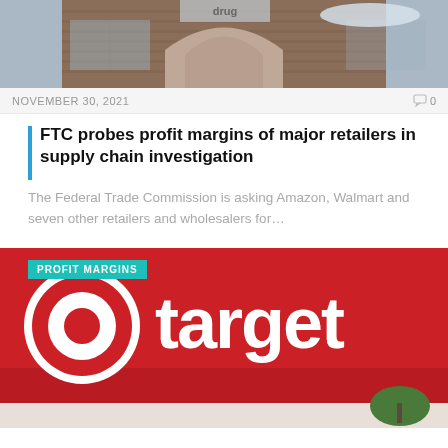[Figure (photo): Exterior of a brick retail store building with an arch entrance, brown brick facade, and a cloudy sky in background]
NOVEMBER 30, 2021
0
FTC probes profit margins of major retailers in supply chain investigation
The Federal Trade Commission is asking Amazon, Walmart and seven other retailers and wholesalers for...
[Figure (photo): Target store exterior showing the red Target bullseye logo and the word 'target' in large white letters on a red background, with a teal 'PROFIT MARGINS' label overlay in the top left corner]